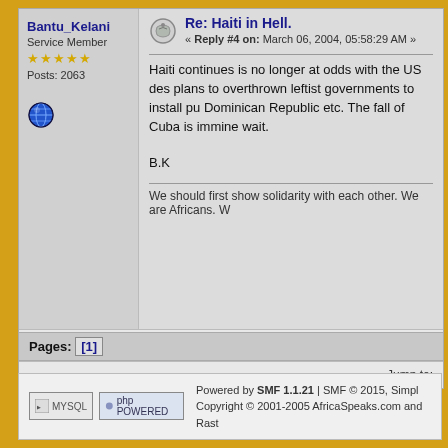Bantu_Kelani
Service Member
Posts: 2063
Re: Haiti in Hell.
« Reply #4 on: March 06, 2004, 05:58:29 AM »
Haiti continues is no longer at odds with the US des plans to overthrown leftist governments to install pu Dominican Republic etc. The fall of Cuba is immine wait.
B.K
We should first show solidarity with each other. We are Africans. W
Pages: [1]
Jump to:
Powered by SMF 1.1.21 | SMF © 2015, Simpl Copyright © 2001-2005 AfricaSpeaks.com and Rast